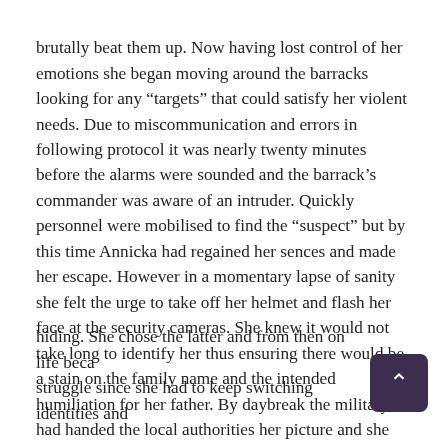brutally beat them up. Now having lost control of her emotions she began moving around the barracks looking for any “targets” that could satisfy her violent needs. Due to miscommunication and errors in following protocol it was nearly twenty minutes before the alarms were sounded and the barrack’s commander was aware of an intruder. Quickly personnel were mobilised to find the “suspect” but by this time Annicka had regained her sences and made her escape. However in a momentary lapse of sanity she felt the urge to take off her helmet and flash her face at the security cameras. She knew it would not take long to identify her thus ensuring there would be a stain on the family name and the intended humiliation for her father. By daybreak the military had handed the local authorities her picture and she was wanted on suspicion of being a terrorist. Annicka was forced to flee her home. She already knew that her career was over. About the only choice she had left was to turn herself in or go into hiding. She chose the latter and from then on life became a struggle since she had to keep switching identities and